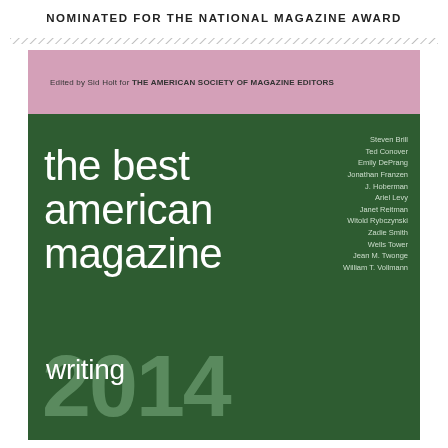NOMINATED FOR THE NATIONAL MAGAZINE AWARD
[Figure (illustration): Book cover for 'The Best American Magazine Writing 2014', edited by Sid Holt for The American Society of Magazine Editors. Pink top band with editor credit, dark green main section with large white lowercase title text 'the best american magazine writing' and large muted green '2014' numeral. Right side lists contributing authors: Steven Brill, Ted Conover, Emily DePrang, Jonathan Franzen, J. Hoberman, Ariel Levy, Janet Reitman, Witold Rybczynski, Zadie Smith, Wells Tower, Jean M. Twonge, William T. Vollmann.]